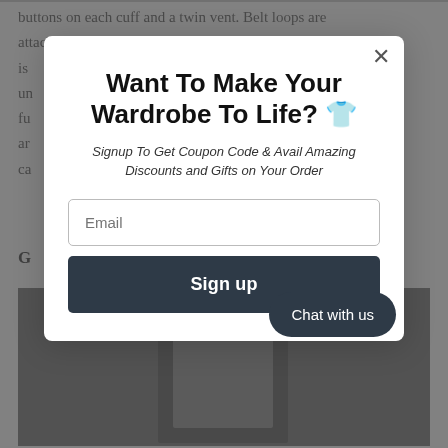buttons on each cuff and a twin vent. Belt loops are attached with straight-leg trousers with suspenders. It is ... un... fu... ar ca...
G...
[Figure (photo): Photo of a person in formal attire on a street]
[Figure (screenshot): Modal popup overlay with newsletter signup form. Title: Want To Make Your Wardrobe To Life? 👔. Subtitle: Signup To Get Coupon Code & Avail Amazing Discounts and Gifts on Your Order. Contains email input field and Sign up button. Chat with us button in bottom right corner.]
Want To Make Your Wardrobe To Life? 👔
Signup To Get Coupon Code & Avail Amazing Discounts and Gifts on Your Order
Email
Sign up
Chat with us